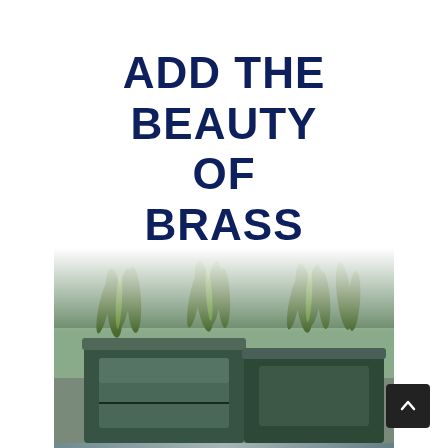ADD THE BEAUTY OF BRASS
[Figure (photo): Outdoor photo of a large weathered dark green/patinated brass or bronze planter with spiky grass plants growing inside, placed on a surface with water or reflective elements visible. The top of the image fades to white.]